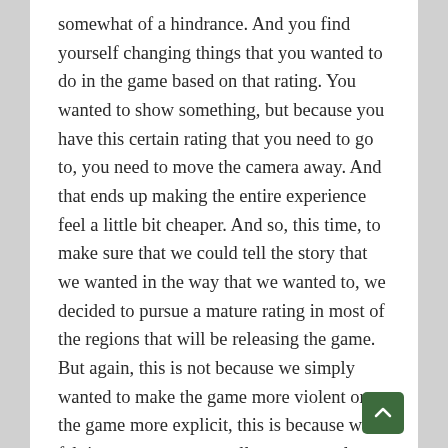somewhat of a hindrance. And you find yourself changing things that you wanted to do in the game based on that rating. You wanted to show something, but because you have this certain rating that you need to go to, you need to move the camera away. And that ends up making the entire experience feel a little bit cheaper. And so, this time, to make sure that we could tell the story that we wanted in the way that we wanted to, we decided to pursue a mature rating in most of the regions that will be releasing the game. But again, this is not because we simply wanted to make the game more violent or the game more explicit, this is because we felt it was necessary to allow us to explore those more mature themes that the game tackles.